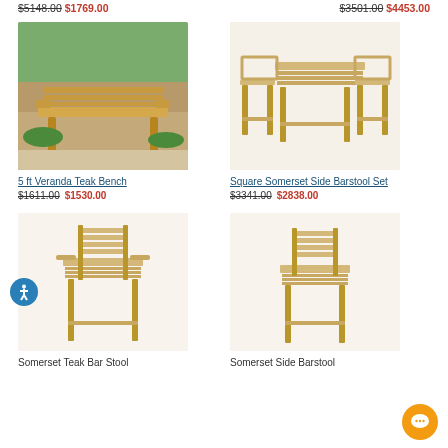$5148.00 $1769.00 | $3501.00 $4453.00
[Figure (photo): 5 ft Veranda Teak Bench outdoor wooden bench on patio]
5 ft Veranda Teak Bench
$1611.00 $1530.00
[Figure (photo): Square Somerset Side Barstool Set - teak wood bar table with 4 stools]
Square Somerset Side Barstool Set
$3341.00 $2838.00
[Figure (photo): Somerset Teak Bar Stool with arms]
Somerset Teak Bar Stool
[Figure (photo): Somerset Side Barstool without arms]
Somerset Side Barstool